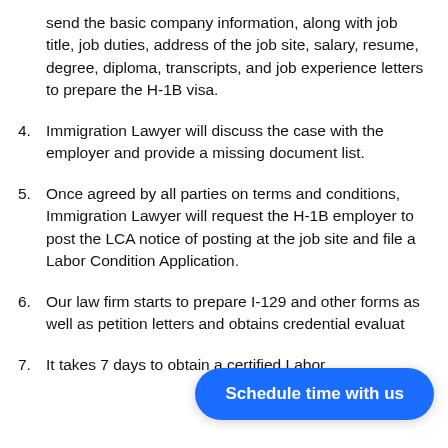send the basic company information, along with job title, job duties, address of the job site, salary, resume, degree, diploma, transcripts, and job experience letters to prepare the H-1B visa.
4. Immigration Lawyer will discuss the case with the employer and provide a missing document list.
5. Once agreed by all parties on terms and conditions, Immigration Lawyer will request the H-1B employer to post the LCA notice of posting at the job site and file a Labor Condition Application.
6. Our law firm starts to prepare I-129 and other forms as well as petition letters and obtains credential evaluat...
7. It takes 7 days to obtain a certified Labor...